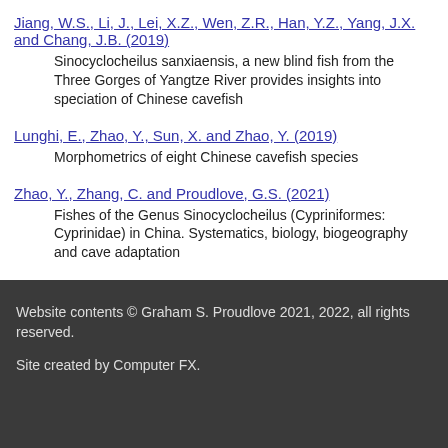Jiang, W.S., Li, J., Lei, X.Z., Wen, Z.R., Han, Y.Z., Yang, J.X. and Chang, J.B. (2019)
Sinocyclocheilus sanxiaensis, a new blind fish from the Three Gorges of Yangtze River provides insights into speciation of Chinese cavefish
Lunghi, E., Zhao, Y., Sun, X. and Zhao, Y. (2019)
Morphometrics of eight Chinese cavefish species
Zhao, Y., Zhang, C. and Proudlove, G.S. (2021)
Fishes of the Genus Sinocyclocheilus (Cypriniformes: Cyprinidae) in China. Systematics, biology, biogeography and cave adaptation
Website contents © Graham S. Proudlove 2021, 2022, all rights reserved.

Site created by Computer FX.